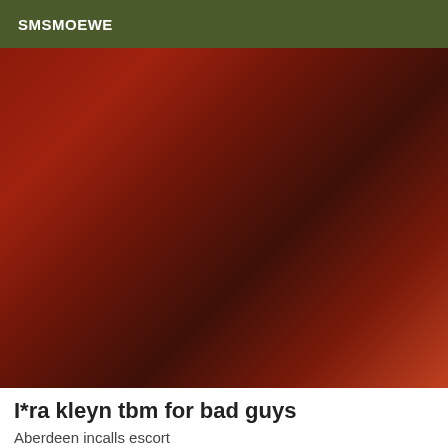SMSMOEWE
[Figure (photo): A person in black lingerie and fishnet stockings posed on a red fabric surface against a red background.]
I*ra kleyn tbm for bad guys
Aberdeen incalls escort